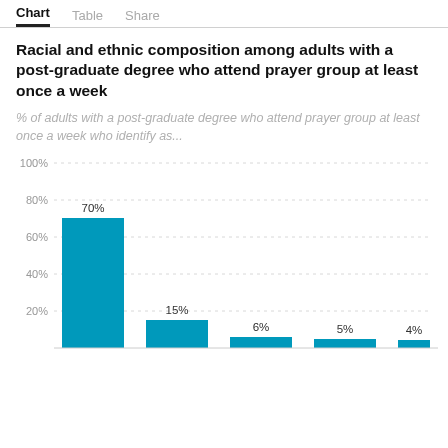Chart  Table  Share
Racial and ethnic composition among adults with a post-graduate degree who attend prayer group at least once a week
% of adults with a post-graduate degree who attend prayer group at least once a week who identify as...
[Figure (bar-chart): Racial and ethnic composition among adults with a post-graduate degree who attend prayer group at least once a week]